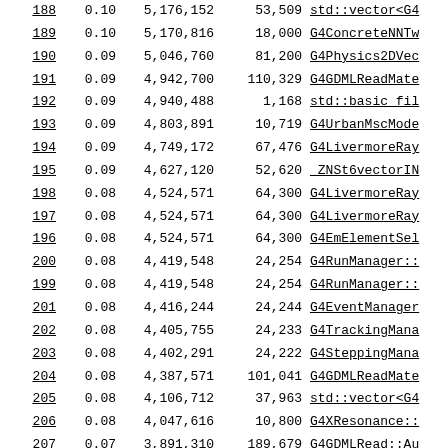| rank | pct | bytes | calls | name |
| --- | --- | --- | --- | --- |
| 188 | 0.10 | 5,176,152 | 53,509 | std::vector<G4... |
| 189 | 0.10 | 5,170,816 | 18,000 | G4ConcreteNNTw... |
| 190 | 0.09 | 5,046,760 | 81,200 | G4Physics2DVec... |
| 191 | 0.09 | 4,942,700 | 110,329 | G4GDMLReadMate... |
| 192 | 0.09 | 4,940,488 | 1,168 | std::basic_fil... |
| 193 | 0.09 | 4,803,891 | 10,719 | G4UrbanMscMode... |
| 194 | 0.09 | 4,749,172 | 67,476 | G4LivermoreRay... |
| 195 | 0.09 | 4,627,120 | 52,620 | _ZNSt6vectorIN... |
| 198 | 0.08 | 4,524,571 | 64,300 | G4LivermoreRay... |
| 197 | 0.08 | 4,524,571 | 64,300 | G4LivermoreRay... |
| 196 | 0.08 | 4,524,571 | 64,300 | G4EmElementSel... |
| 200 | 0.08 | 4,419,548 | 24,254 | G4RunManager::... |
| 199 | 0.08 | 4,419,548 | 24,254 | G4RunManager::... |
| 201 | 0.08 | 4,416,244 | 24,244 | G4EventManager... |
| 202 | 0.08 | 4,405,755 | 24,233 | G4TrackingMana... |
| 203 | 0.08 | 4,402,291 | 24,222 | G4SteppingMana... |
| 204 | 0.08 | 4,387,571 | 101,041 | G4GDMLReadMate... |
| 205 | 0.08 | 4,106,712 | 37,963 | std::vector<G4... |
| 206 | 0.08 | 4,047,616 | 10,800 | G4XResonance::... |
| 207 | 0.07 | 3,891,310 | 189,679 | G4GDMLRead::Au... |
| 208 | 0.07 | 3,471,992 | 7,122 | G4EmExtraPhys... |